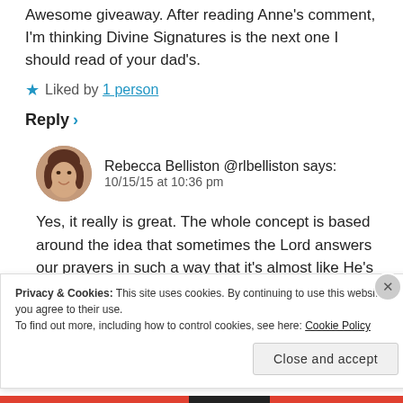Awesome giveaway. After reading Anne's comment, I'm thinking Divine Signatures is the next one I should read of your dad's.
★ Liked by 1 person
Reply ›
Rebecca Belliston @rlbelliston says:
10/15/15 at 10:36 pm
Yes, it really is great. The whole concept is based around the idea that sometimes the Lord answers our prayers in such a way that it's almost like He's signing
Privacy & Cookies: This site uses cookies. By continuing to use this website, you agree to their use.
To find out more, including how to control cookies, see here: Cookie Policy
Close and accept